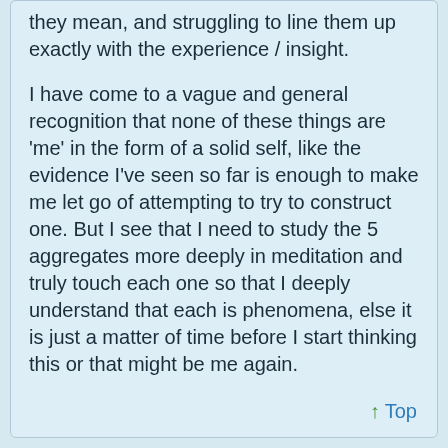they mean, and struggling to line them up exactly with the experience / insight.
I have come to a vague and general recognition that none of these things are 'me' in the form of a solid self, like the evidence I've seen so far is enough to make me let go of attempting to try to construct one. But I see that I need to study the 5 aggregates more deeply in meditation and truly touch each one so that I deeply understand that each is phenomena, else it is just a matter of time before I start thinking this or that might be me again.
↑ Top